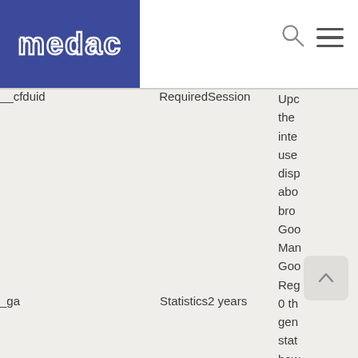[Figure (logo): medac logo — white outlined text on dark blue/purple background]
| Name | Category | Duration | Description |
| --- | --- | --- | --- |
| __cfduid | Required | Session | Upc… inte… use… disp… abo… bro… Goo… Man… Goo… Reg… |
| _ga | Statistics | 2 years | 0 th… gen… stat… how… use… |